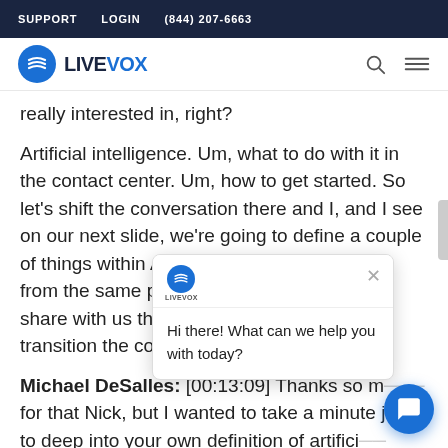SUPPORT   LOGIN   (844) 207-6663
[Figure (logo): LiveVox logo with blue circle icon and wordmark]
really interested in, right?
Artificial intelligence. Um, what to do with it in the contact center. Um, how to get started. So let's shift the conversation there and I, and I see on our next slide, we're going to define a couple of things within AI to [obscured] from the same page [obscured] share with us that, a[obscured] transition the conver[obscured]
[Figure (screenshot): LiveVox chat widget overlay showing 'Hi there! What can we help you with today?' message with close button and logo]
Michael DeSalles: [00:13:09] Thanks so m[obscured] for that Nick, but I wanted to take a minute j[obscured] to deep into your own definition of artifici[obscured]